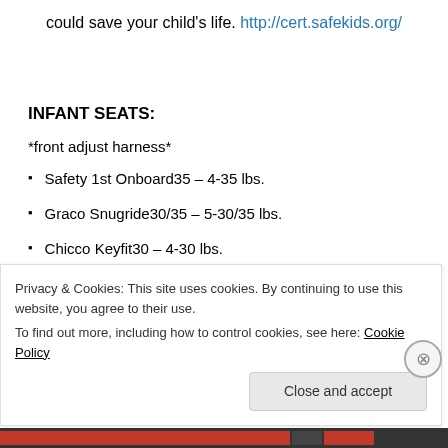could save your child's life. http://cert.safekids.org/
INFANT SEATS:
*front adjust harness*
Safety 1st Onboard35 – 4-35 lbs.
Graco Snugride30/35 – 5-30/35 lbs.
Chicco Keyfit30 – 4-30 lbs.
Privacy & Cookies: This site uses cookies. By continuing to use this website, you agree to their use. To find out more, including how to control cookies, see here: Cookie Policy
Close and accept